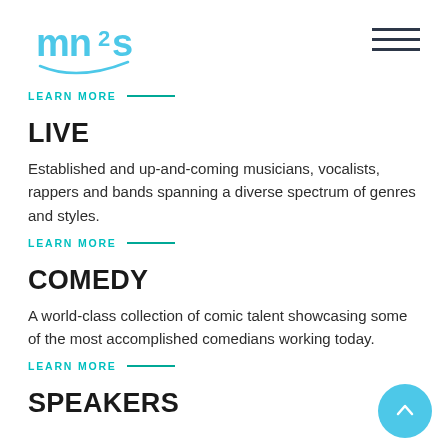mn2s logo and navigation hamburger menu
LEARN MORE —
LIVE
Established and up-and-coming musicians, vocalists, rappers and bands spanning a diverse spectrum of genres and styles.
LEARN MORE —
COMEDY
A world-class collection of comic talent showcasing some of the most accomplished comedians working today.
LEARN MORE —
SPEAKERS